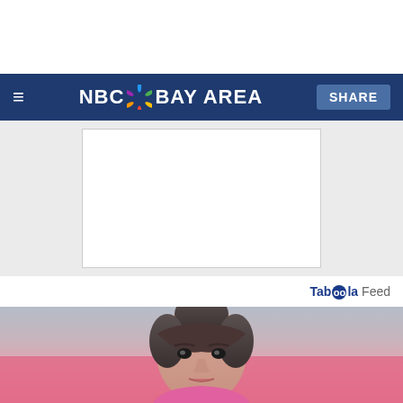NBC Bay Area
[Figure (photo): White advertisement placeholder box on gray background]
Taboola Feed
[Figure (photo): Close-up photo of a young woman with dark hair in a bun and bangs, wearing pink, against a pink background]